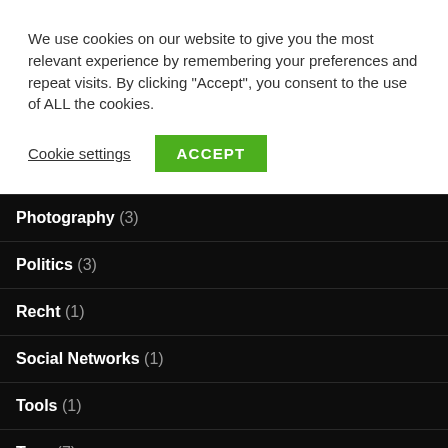We use cookies on our website to give you the most relevant experience by remembering your preferences and repeat visits. By clicking “Accept”, you consent to the use of ALL the cookies.
Cookie settings
ACCEPT
Photography (3)
Politics (3)
Recht (1)
Social Networks (1)
Tools (1)
Toys (7)
Travel (6)